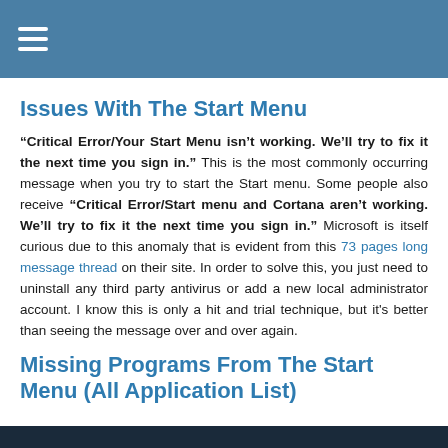≡ (hamburger menu icon)
Issues With The Start Menu
“Critical Error/Your Start Menu isn’t working. We’ll try to fix it the next time you sign in.” This is the most commonly occurring message when you try to start the Start menu. Some people also receive “Critical Error/Start menu and Cortana aren’t working. We’ll try to fix it the next time you sign in.” Microsoft is itself curious due to this anomaly that is evident from this 73 pages long message thread on their site. In order to solve this, you just need to uninstall any third party antivirus or add a new local administrator account. I know this is only a hit and trial technique, but it’s better than seeing the message over and over again.
Missing Programs From The Start Menu (All Application List)